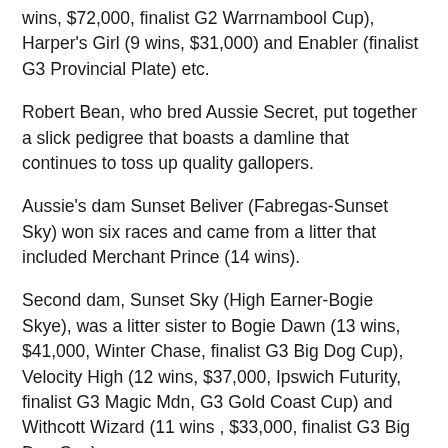wins, $72,000, finalist G2 Warrnambool Cup), Harper's Girl (9 wins, $31,000) and Enabler (finalist G3 Provincial Plate) etc.
Robert Bean, who bred Aussie Secret, put together a slick pedigree that boasts a damline that continues to toss up quality gallopers.
Aussie's dam Sunset Beliver (Fabregas-Sunset Sky) won six races and came from a litter that included Merchant Prince (14 wins).
Second dam, Sunset Sky (High Earner-Bogie Skye), was a litter sister to Bogie Dawn (13 wins, $41,000, Winter Chase, finalist G3 Big Dog Cup), Velocity High (12 wins, $37,000, Ipswich Futurity, finalist G3 Magic Mdn, G3 Gold Coast Cup) and Withcott Wizard (11 wins , $33,000, finalist G3 Big Dog Cup).
But, mother Bogie Skye is also the dam of Group 1 stars like